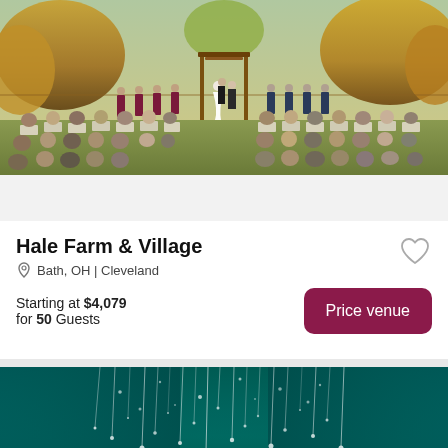Locations | Venue Style | Outdoor | More Filters
[Figure (photo): Outdoor wedding ceremony in a farm setting with autumn trees. Bride and groom at an altar with wooden arch, bridesmaids in burgundy dresses, groomsmen in navy suits, guests seated in white chairs.]
Hale Farm & Village
Bath, OH | Cleveland
Starting at $4,079 for 50 Guests
[Figure (photo): Indoor wedding reception venue with teal/cyan uplighting, hanging crystal or floral arrangements from ceiling, silhouettes of musicians on stage, speaker towers on sides.]